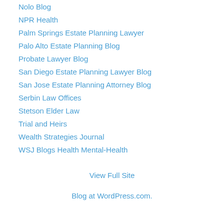Nolo Blog
NPR Health
Palm Springs Estate Planning Lawyer
Palo Alto Estate Planning Blog
Probate Lawyer Blog
San Diego Estate Planning Lawyer Blog
San Jose Estate Planning Attorney Blog
Serbin Law Offices
Stetson Elder Law
Trial and Heirs
Wealth Strategies Journal
WSJ Blogs Health Mental-Health
View Full Site
Blog at WordPress.com.